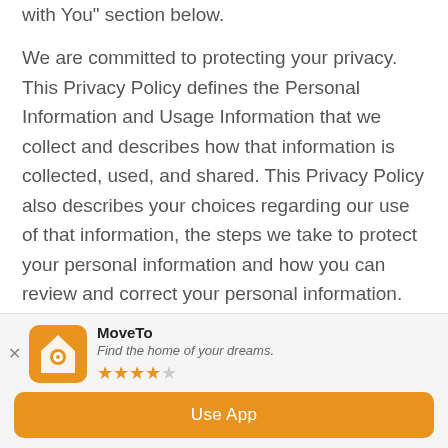with You section below.
We are committed to protecting your privacy. This Privacy Policy defines the Personal Information and Usage Information that we collect and describes how that information is collected, used, and shared. This Privacy Policy also describes your choices regarding our use of that information, the steps we take to protect your personal information and how you can review and correct your personal information.
This Privacy Policy is in effect for any web page,
[Figure (infographic): App install banner for MoveTo app showing icon, tagline 'Find the home of your dreams.', 3.5 star rating, and 'Use App' orange button]